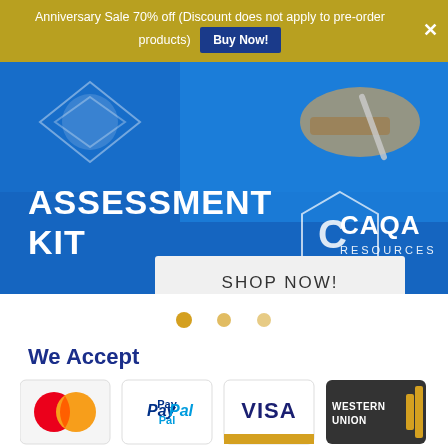Anniversary Sale 70% off (Discount does not apply to pre-order products) Buy Now!
[Figure (photo): Blue promotional banner image showing a person writing, with text 'ASSESSMENT KIT' and CAQA Resources logo on the right. A 'SHOP NOW!' button appears below the image.]
We Accept
[Figure (infographic): Row of payment method logos: MasterCard, PayPal, Visa, Western Union]